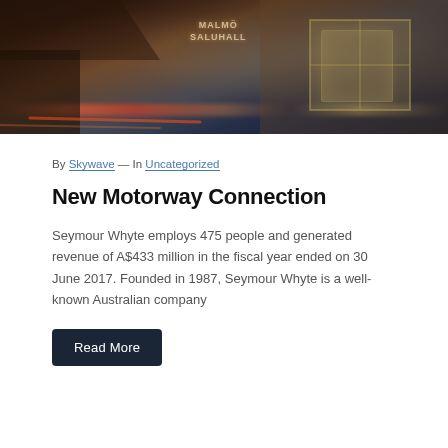[Figure (photo): Nighttime exterior photo of a building complex with dark brick and wood facade, illuminated signage reading 'MALMO SALUHALL', large glass windows glowing with warm interior light, bicycles in foreground, and light trails from traffic on wet street]
By Skywave — In Uncategorized
New Motorway Connection
Seymour Whyte employs 475 people and generated revenue of A$433 million in the fiscal year ended on 30 June 2017. Founded in 1987, Seymour Whyte is a well-known Australian company
Read More